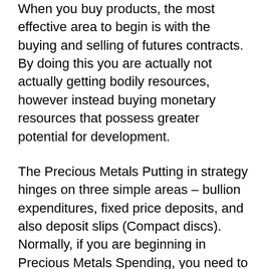When you buy products, the most effective area to begin is with the buying and selling of futures contracts. By doing this you are actually not actually getting bodily resources, however instead buying monetary resources that possess greater potential for development.
The Precious Metals Putting in strategy hinges on three simple areas – bullion expenditures, fixed price deposits, and also deposit slips (Compact discs). Normally, if you are beginning in Precious Metals Spending, you need to pay attention to one area like gold or coins. Bullion assets stand for physical gold or silver investments. These assets have notable growth ability as silver and gold rates have a tendency to boost considerably better. Certificates of deposits